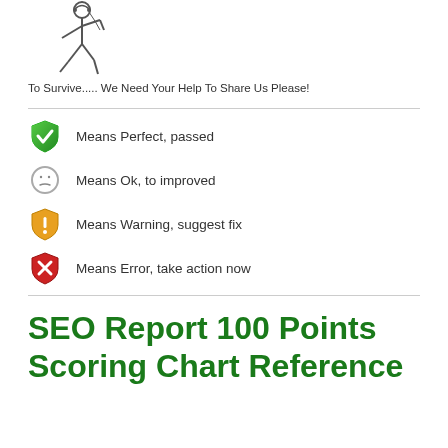[Figure (illustration): Stick figure illustration of a running/moving person made of thin lines]
To Survive..... We Need Your Help To Share Us Please!
Means Perfect, passed
Means Ok, to improved
Means Warning, suggest fix
Means Error, take action now
SEO Report 100 Points Scoring Chart Reference